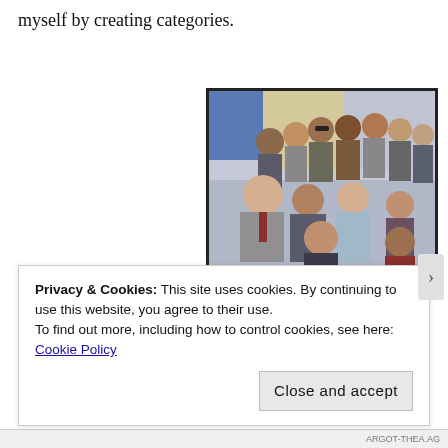myself by creating categories.
[Figure (photo): Group photo of cast members of Homicide: Life on the Street, approximately 10-11 people posed together indoors]
Homicide: Life on the Street
Privacy & Cookies: This site uses cookies. By continuing to use this website, you agree to their use.
To find out more, including how to control cookies, see here: Cookie Policy
Close and accept